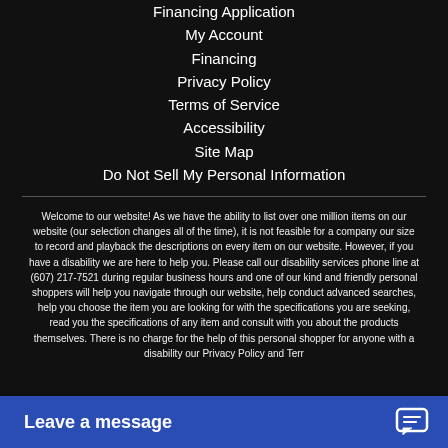Financing Application
My Account
Financing
Privacy Policy
Terms of Service
Accessibility
Site Map
Do Not Sell My Personal Information
Welcome to our website! As we have the ability to list over one million items on our website (our selection changes all of the time), it is not feasible for a company our size to record and playback the descriptions on every item on our website. However, if you have a disability we are here to help you. Please call our disability services phone line at (607) 217-7521 during regular business hours and one of our kind and friendly personal shoppers will help you navigate through our website, help conduct advanced searches, help you choose the item you are looking for with the specifications you are seeking, read you the specifications of any item and consult with you about the products themselves. There is no charge for the help of this personal shopper for anyone with a disability our Privacy Policy and Terr
Leave a message